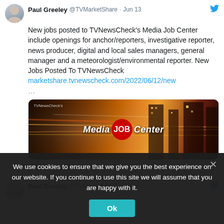Paul Greeley @TVMarketShare · Jun 13
New jobs posted to TVNewsCheck's Media Job Center include openings for anchor/reporters, investigative reporter, news producer, digital and local sales managers, general manager and a meteorologist/environmental reporter. New Jobs Posted To TVNewsCheck marketshare.tvnewscheck.com/2022/06/12/new …
[Figure (screenshot): TVNewsCheck Media Job Center banner image with city lights background]
Paul Greeley @TVMarketShare · Jun 9
We use cookies to ensure that we give you the best experience on our website. If you continue to use this site we will assume that you are happy with it.